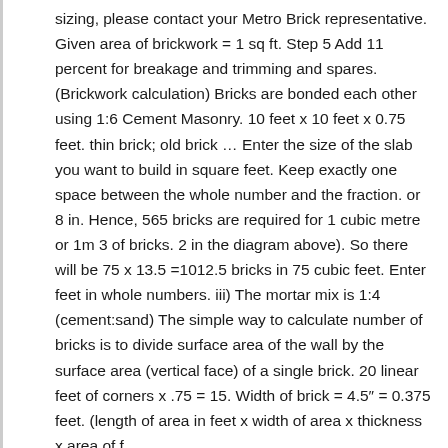sizing, please contact your Metro Brick representative. Given area of brickwork = 1 sq ft. Step 5 Add 11 percent for breakage and trimming and spares. (Brickwork calculation) Bricks are bonded each other using 1:6 Cement Masonry. 10 feet x 10 feet x 0.75 feet. thin brick; old brick … Enter the size of the slab you want to build in square feet. Keep exactly one space between the whole number and the fraction. or 8 in. Hence, 565 bricks are required for 1 cubic metre or 1m 3 of bricks. 2 in the diagram above). So there will be 75 x 13.5 =1012.5 bricks in 75 cubic feet. Enter feet in whole numbers. iii) The mortar mix is 1:4 (cement:sand) The simple way to calculate number of bricks is to divide surface area of the wall by the surface area (vertical face) of a single brick. 20 linear feet of corners x .75 = 15. Width of brick = 4.5″ = 0.375 feet. (length of area in feet x width of area x thickness x area of f